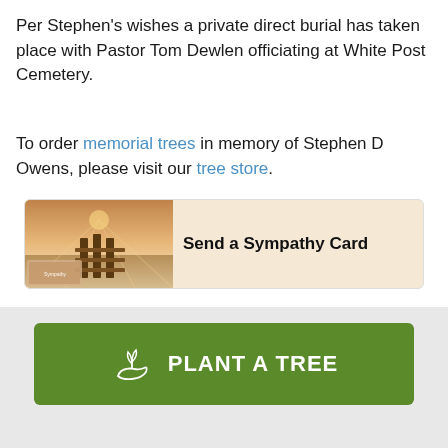Per Stephen's wishes a private direct burial has taken place with Pastor Tom Dewlen officiating at White Post Cemetery.
To order memorial trees in memory of Stephen D Owens, please visit our tree store.
[Figure (illustration): Send a Sympathy Card banner with an image of a wooden dock at sunset on the left and bold text 'Send a Sympathy Card' on the right]
PLANT A TREE